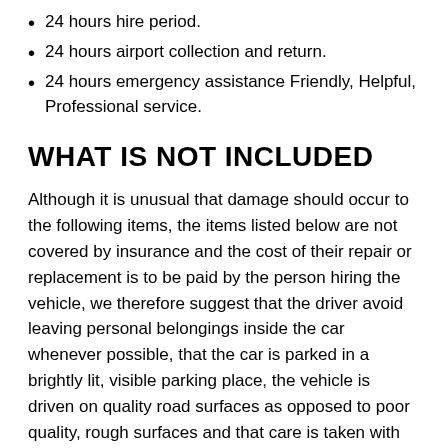24 hours hire period.
24 hours airport collection and return.
24 hours emergency assistance Friendly, Helpful, Professional service.
WHAT IS NOT INCLUDED
Although it is unusual that damage should occur to the following items, the items listed below are not covered by insurance and the cost of their repair or replacement is to be paid by the person hiring the vehicle, we therefore suggest that the driver avoid leaving personal belongings inside the car whenever possible, that the car is parked in a brightly lit, visible parking place, the vehicle is driven on quality road surfaces as opposed to poor quality, rough surfaces and that care is taken with the key at all times so as it does not get lost, damaged or lost.